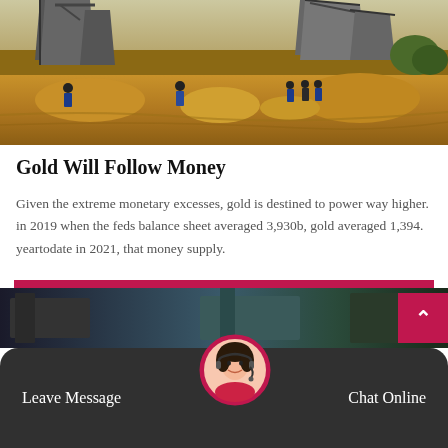[Figure (photo): Aerial view of a gold mining operation with workers in blue uniforms, sandy terrain, industrial equipment, and conveyor structures in the background]
Gold Will Follow Money
Given the extreme monetary excesses, gold is destined to power way higher. in 2019 when the feds balance sheet averaged 3,930b, gold averaged 1,394. yeartodate in 2021, that money supply.
Get Price
[Figure (photo): Partial bottom section showing industrial or mining facility image]
Leave Message
Chat Online